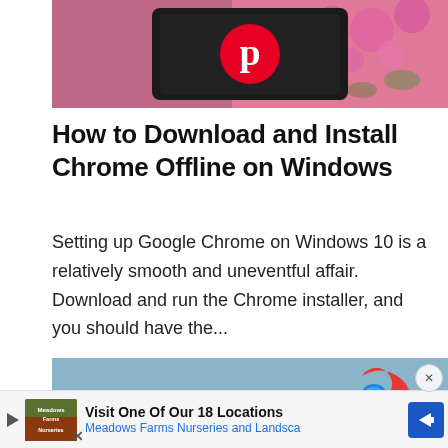[Figure (photo): Pinterest logo on a tablet/phone screen with pink flowers in background]
How to Download and Install Chrome Offline on Windows
Setting up Google Chrome on Windows 10 is a relatively smooth and uneventful affair. Download and run the Chrome installer, and you should have the...
[Figure (photo): Google Chrome logo overlaid on a photo of a turtle on a blue-sky background]
[Figure (photo): Advertisement bar: Visit One Of Our 18 Locations - Meadows Farms Nurseries and Landsca]